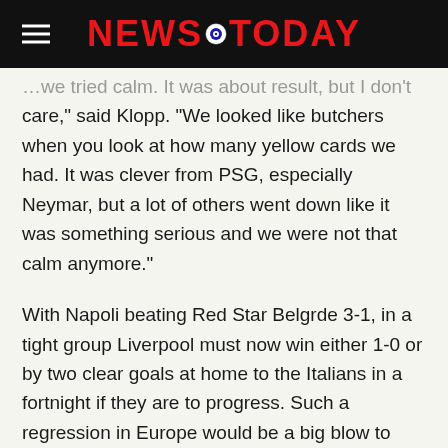NEWS TODAY
care," said Klopp. "We looked like butchers when you look at how many yellow cards we had. It was clever from PSG, especially Neymar, but a lot of others went down like it was something serious and we were not that calm anymore."
With Napoli beating Red Star Belgrde 3-1, in a tight group Liverpool must now win either 1-0 or by two clear goals at home to the Italians in a fortnight if they are to progress. Such a regression in Europe would be a big blow to Liverpool, even if it could conceivably help them in the Premier League.
Meanwhile, PSG head to Belgrade for their last game still needing to win to be certain of advancing, but at least